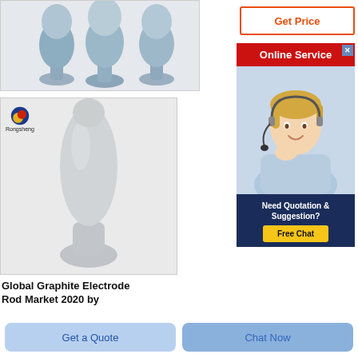[Figure (photo): Product photo showing three graphite electrode rods on pedestals, grey/blue color, on light background]
[Figure (photo): Product photo of a single graphite electrode rod, elongated bullet shape on a round base, grey/white color, with Rongsheng logo in upper left]
Global Graphite Electrode Rod Market 2020 by
[Figure (infographic): Get Price button with orange border and orange text]
[Figure (infographic): Online Service panel with red header, close X button, photo of smiling woman with headset, and a dark blue Need Quotation & Suggestion box with Free Chat yellow button]
Get a Quote
Chat Now